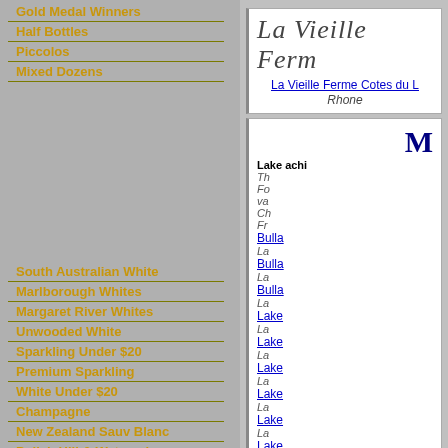Gold Medal Winners
Half Bottles
Piccolos
Mixed Dozens
South Australian White
Marlborough Whites
Margaret River Whites
Unwooded White
Sparkling Under $20
Premium Sparkling
White Under $20
Champagne
New Zealand Sauv Blanc
Polish Hill & Watervale
La Vieille Ferm
La Vieille Ferme Cotes du L
Rhone
M
Lake achi
Th Fo va Ch Fr
Bulla La Bulla La Bulla La Lake La Lake La Lake La Lake La Lake La